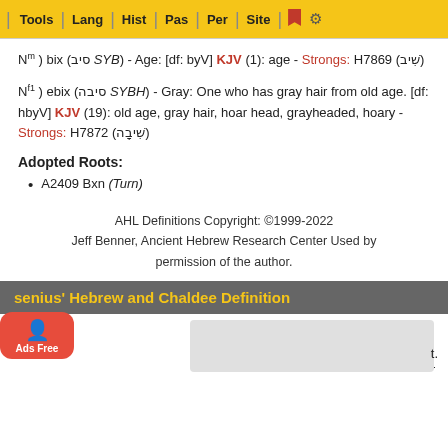Tools | Lang | Hist | Pas | Per | Site
Nm ) bix (סיב SYB) - Age: [df: byV] KJV (1): age - Strongs: H7869 (שִׁיב)
Nf1 ) ebix (סיבה SYBH) - Gray: One who has gray hair from old age. [df: hbyV] KJV (19): old age, gray hair, hoar head, grayheaded, hoary - Strongs: H7872 (שִׁיבָה)
Adopted Roots:
A2409 Bxn (Turn)
AHL Definitions Copyright: ©1999-2022 Jeff Benner, Ancient Hebrew Research Center Used by permission of the author.
Gesenius' Hebrew and Chaldee Definition
סָבַב יָסֹב a